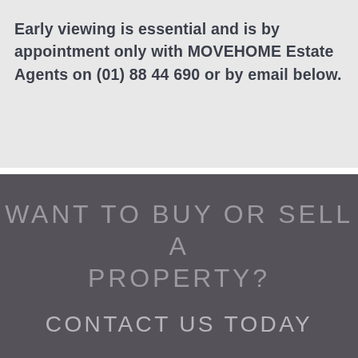Early viewing is essential and is by appointment only with MOVEHOME Estate Agents on (01) 88 44 690 or by email below.
WANT TO BUY OR SELL A PROPERTY?
CONTACT US TODAY
+353 1 884 4690